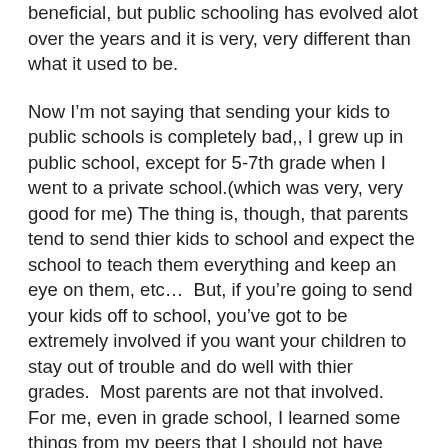beneficial, but public schooling has evolved alot over the years and it is very, very different than what it used to be.
Now I'm not saying that sending your kids to public schools is completely bad,, I grew up in public school, except for 5-7th grade when I went to a private school.(which was very, very good for me) The thing is, though, that parents tend to send thier kids to school and expect the school to teach them everything and keep an eye on them, etc…  But, if you're going to send your kids off to school, you've got to be extremely involved if you want your children to stay out of trouble and do well with thier grades.  Most parents are not that involved.  For me, even in grade school, I learned some things from my peers that I should not have known about at that age, and I didn't even hang out with a bad crowd.  My husband will say the same thing. It's amazing what some grade schoolers will talk about at that age.  That is one of the reasons for us wanting to home-school.